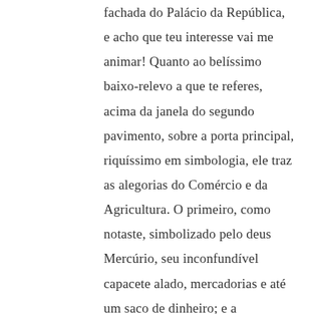fachada do Palácio da República, e acho que teu interesse vai me animar! Quanto ao belíssimo baixo-relevo a que te referes, acima da janela do segundo pavimento, sobre a porta principal, riquíssimo em simbologia, ele traz as alegorias do Comércio e da Agricultura. O primeiro, como notaste, simbolizado pelo deus Mercúrio, seu inconfundível capacete alado, mercadorias e até um saco de dinheiro; e a Agricultura